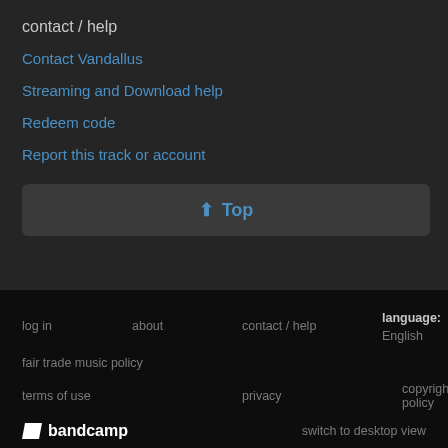contact / help
Contact Vandallus
Streaming and Download help
Redeem code
Report this track or account
⬆ Top
log in   about   contact / help   language: English   fair trade music policy   terms of use   privacy   copyright policy   bandcamp   switch to desktop view